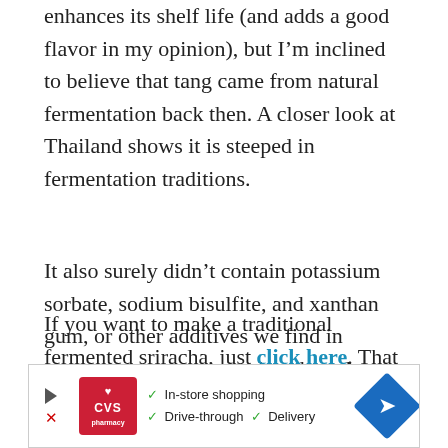enhances its shelf life (and adds a good flavor in my opinion), but I'm inclined to believe that tang came from natural fermentation back then. A closer look at Thailand shows it is steeped in fermentation traditions.
It also surely didn't contain potassium sorbate, sodium bisulfite, and xanthan gum, or other additives we find in contemporary mass-produced products.
If you want to make a traditional fermented sriracha, just click here. That recipe recommends red jalapenos (which is what the popular Huy Fong Foods brand uses) but the exact choice of pepper(s) is yours.
[Figure (other): CVS Pharmacy advertisement banner showing in-store shopping, drive-through, and delivery options with navigation icon]